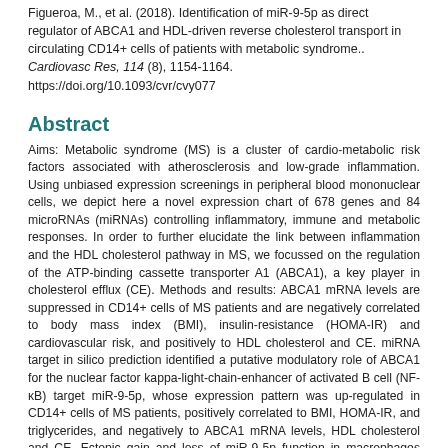Figueroa, M., et al. (2018). Identification of miR-9-5p as direct regulator of ABCA1 and HDL-driven reverse cholesterol transport in circulating CD14+ cells of patients with metabolic syndrome.. Cardiovasc Res, 114 (8), 1154-1164. https://doi.org/10.1093/cvr/cvy077
Abstract
Aims: Metabolic syndrome (MS) is a cluster of cardio-metabolic risk factors associated with atherosclerosis and low-grade inflammation. Using unbiased expression screenings in peripheral blood mononuclear cells, we depict here a novel expression chart of 678 genes and 84 microRNAs (miRNAs) controlling inflammatory, immune and metabolic responses. In order to further elucidate the link between inflammation and the HDL cholesterol pathway in MS, we focussed on the regulation of the ATP-binding cassette transporter A1 (ABCA1), a key player in cholesterol efflux (CE). Methods and results: ABCA1 mRNA levels are suppressed in CD14+ cells of MS patients and are negatively correlated to body mass index (BMI), insulin-resistance (HOMA-IR) and cardiovascular risk, and positively to HDL cholesterol and CE. miRNA target in silico prediction identified a putative modulatory role of ABCA1 for the nuclear factor kappa-light-chain-enhancer of activated B cell (NF-κB) target miR-9-5p, whose expression pattern was up-regulated in CD14+ cells of MS patients, positively correlated to BMI, HOMA-IR, and triglycerides, and negatively to ABCA1 mRNA levels, HDL cholesterol and CE. Ectopic gain and loss of miR-9-5p function in macrophages modulated ABCA1 mRNA and protein levels, ABCA1 miRNA 3'-untranslated region target sequence reporter assay, and CE into HDL, thus confirming ABCA1 as a target of miR-9-5p. Conclusions: We identified the NF-κB target miR-9-5p as a negative regulator of ABCA1 adding